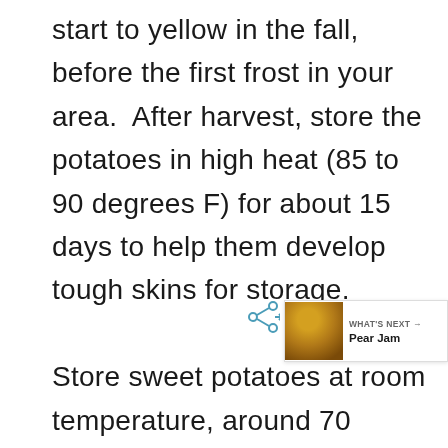start to yellow in the fall, before the first frost in your area.  After harvest, store the potatoes in high heat (85 to 90 degrees F) for about 15 days to help them develop tough skins for storage.

Store sweet potatoes at room temperature, around 70 degrees (not in a root cellar).  If you don't have a good place to store them, then canning sweet potatoes is a great way to preserve them right on the pantry shelf.